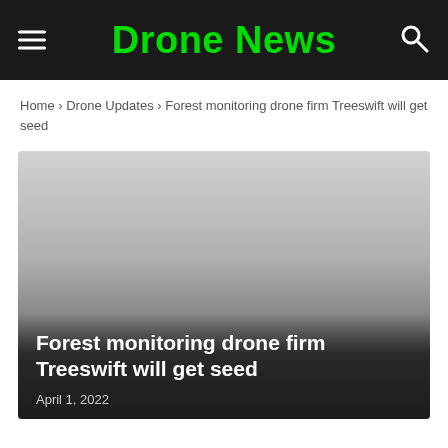Drone News
Home › Drone Updates › Forest monitoring drone firm Treeswift will get seed
[Figure (photo): Blurred/gradient placeholder image for the article about Treeswift forest monitoring drone company, dark gradient at bottom with overlay text]
Forest monitoring drone firm Treeswift will get seed
April 1, 2022